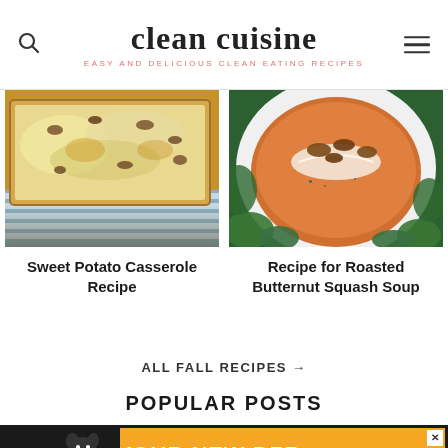clean cuisine
EASY AND DELICIOUS CLEAN EATING RECIPES
[Figure (photo): Sweet potato casserole in a glass baking dish with shredded cheese topping, on a striped cloth]
[Figure (photo): Bowl of roasted butternut squash soup topped with cream, pecans, and fresh parsley, with a white bowl rim visible]
Sweet Potato Casserole Recipe
Recipe for Roasted Butternut Squash Soup
ALL FALL RECIPES →
POPULAR POSTS
[Figure (photo): Advertisement banner: dark background with orange panel showing a dog silhouette and text YOUR NEW BFF, with close button and logo]